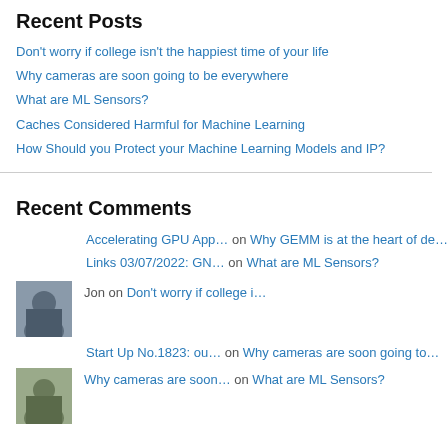Recent Posts
Don't worry if college isn't the happiest time of your life
Why cameras are soon going to be everywhere
What are ML Sensors?
Caches Considered Harmful for Machine Learning
How Should you Protect your Machine Learning Models and IP?
Recent Comments
Accelerating GPU App… on Why GEMM is at the heart of de…
Links 03/07/2022: GN… on What are ML Sensors?
Jon on Don't worry if college i…
Start Up No.1823: ou… on Why cameras are soon going to…
Why cameras are soon… on What are ML Sensors?